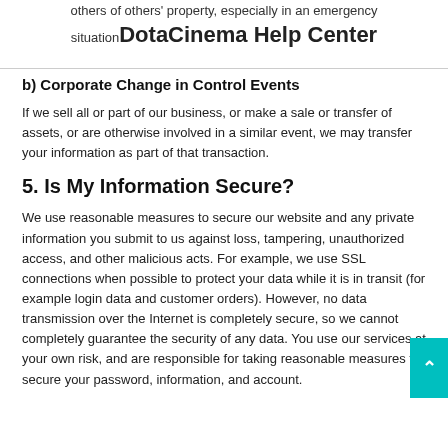others of others' property, especially in an emergency situation DotaCinema Help Center
b) Corporate Change in Control Events
If we sell all or part of our business, or make a sale or transfer of assets, or are otherwise involved in a similar event, we may transfer your information as part of that transaction.
5. Is My Information Secure?
We use reasonable measures to secure our website and any private information you submit to us against loss, tampering, unauthorized access, and other malicious acts. For example, we use SSL connections when possible to protect your data while it is in transit (for example login data and customer orders). However, no data transmission over the Internet is completely secure, so we cannot completely guarantee the security of any data. You use our services at your own risk, and are responsible for taking reasonable measures to secure your password, information, and account.